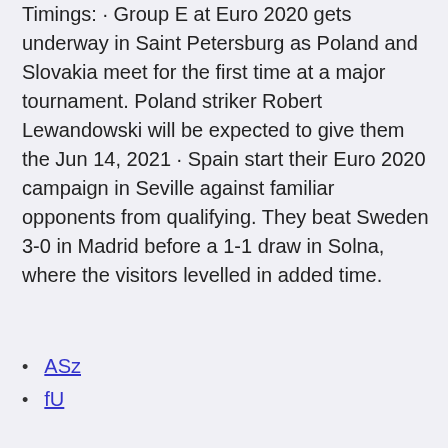Timings: · Group E at Euro 2020 gets underway in Saint Petersburg as Poland and Slovakia meet for the first time at a major tournament. Poland striker Robert Lewandowski will be expected to give them the Jun 14, 2021 · Spain start their Euro 2020 campaign in Seville against familiar opponents from qualifying. They beat Sweden 3-0 in Madrid before a 1-1 draw in Solna, where the visitors levelled in added time.
ASz
fU